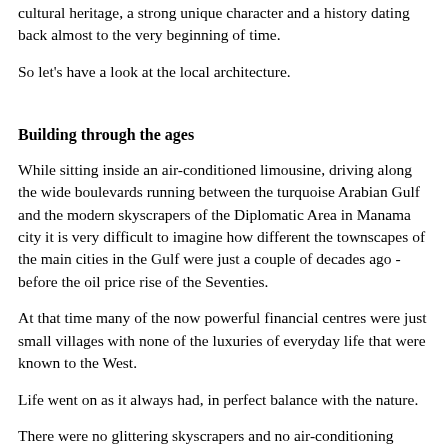cultural heritage, a strong unique character and a history dating back almost to the very beginning of time.
So let's have a look at the local architecture.
Building through the ages
While sitting inside an air-conditioned limousine, driving along the wide boulevards running between the turquoise Arabian Gulf and the modern skyscrapers of the Diplomatic Area in Manama city it is very difficult to imagine how different the townscapes of the main cities in the Gulf were just a couple of decades ago - before the oil price rise of the Seventies.
At that time many of the now powerful financial centres were just small villages with none of the luxuries of everyday life that were known to the West.
Life went on as it always had, in perfect balance with the nature.
There were no glittering skyscrapers and no air-conditioning which is now an absolute necessity in the Gulf, especially during those steamy summer months July to August when the temperatures soar